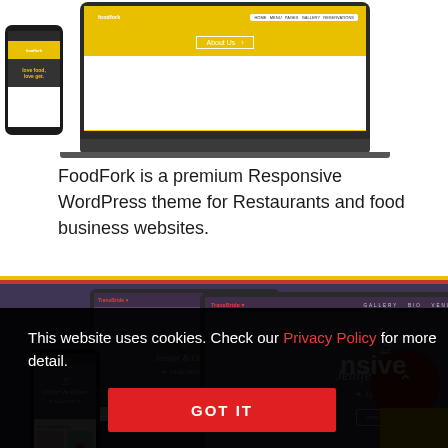[Figure (screenshot): FoodFork WordPress theme shown on laptop and phone device mockups with yellow branding]
FoodFork is a premium Responsive WordPress theme for Restaurants and food business websites.
[Figure (screenshot): Wedding WordPress theme shown on laptop, tablet and phone device mockups with dark purple background. Shows 'Jenifer & Oliver 14.02.2016' wedding website.]
This website uses cookies. Check our Privacy Policy for more detail.
GOT IT